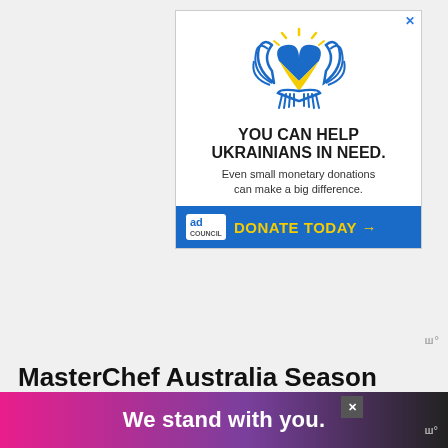[Figure (infographic): Ad Council Ukraine donation appeal: illustration of hands holding a blue and yellow heart with angel wings and sunrays, with text 'YOU CAN HELP UKRAINIANS IN NEED. Even small monetary donations can make a big difference.' and a blue DONATE TODAY → button bar with Ad Council logo.]
ш°
MasterChef Australia Season 14 Episode 21: What is the final w...
[Figure (infographic): Bottom banner ad with gradient pink-purple-black background reading 'We stand with you.' in white bold text, with a close X button and Moat badge.]